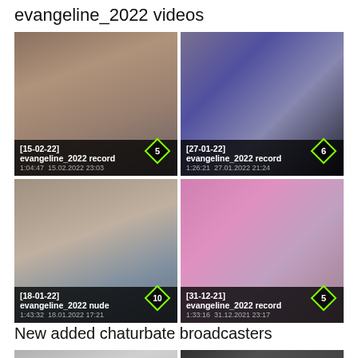evangeline_2022 videos
[Figure (photo): Video thumbnail: [15-02-22] evangeline_2022 record, duration 1:04:47, date 15.02.2022 23:03, rating 5]
[Figure (photo): Video thumbnail: [27-01-22] evangeline_2022 record, duration 1:26:21, date 27.01.2022 21:24, rating 6]
[Figure (photo): Video thumbnail: [18-01-22] evangeline_2022 nude, duration 1:43:32, date 18.01.2022 17:21, rating 10]
[Figure (photo): Video thumbnail: [31-12-21] evangeline_2022 record, duration 1:33:16, date 31.12.2021 23:17, rating 5]
New added chaturbate broadcasters
[Figure (photo): Broadcaster thumbnail 1]
[Figure (photo): Broadcaster thumbnail 2]